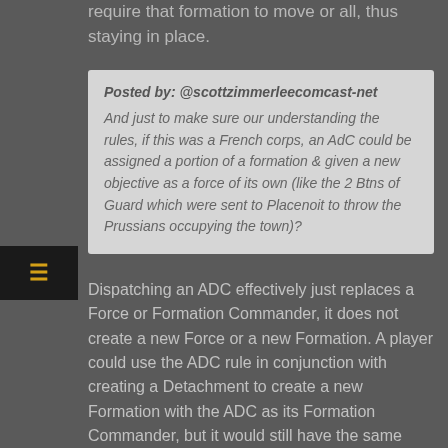require that formation to move or all, thus staying in place.
Posted by: @scottzimmerleecomcast-net

And just to make sure our understanding the rules, if this was a French corps, an AdC could be assigned a portion of a formation & given a new objective as a force of its own (like the 2 Btns of Guard which were sent to Placenoit to throw the Prussians occupying the town)?
Dispatching an ADC effectively just replaces a Force or Formation Commander, it does not create a new Force or a new Formation. A player could use the ADC rule in conjunction with creating a Detachment to create a new Formation with the ADC as its Formation Commander, but it would still have the same Objective as its parent Force.